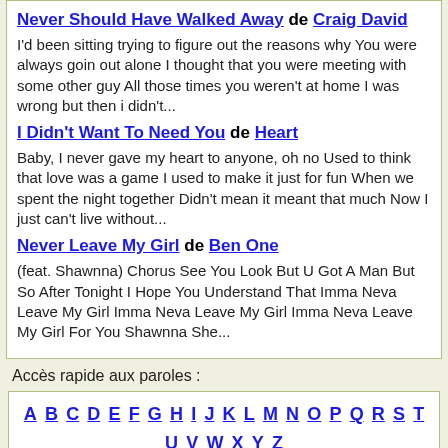Never Should Have Walked Away de Craig David
I'd been sitting trying to figure out the reasons why You were always goin out alone I thought that you were meeting with some other guy All those times you weren't at home I was wrong but then i didn't...
I Didn't Want To Need You de Heart
Baby, I never gave my heart to anyone, oh no Used to think that love was a game I used to make it just for fun When we spent the night together Didn't mean it meant that much Now I just can't live without...
Never Leave My Girl de Ben One
(feat. Shawnna) Chorus See You Look But U Got A Man But So After Tonight I Hope You Understand That Imma Neva Leave My Girl Imma Neva Leave My Girl Imma Neva Leave My Girl For You Shawnna She...
Accès rapide aux paroles :
A B C D E F G H I J K L M N O P Q R S T U V W X Y Z